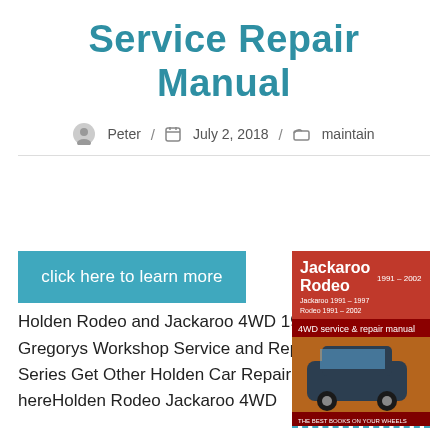Service Repair Manual
Peter / July 2, 2018 / maintain
[Figure (photo): Book cover for Jackaroo Rodeo 1991-2002 4WD service & repair manual showing a 4WD vehicle on a red cover]
click here to learn more
Holden Rodeo and Jackaroo 4WD 1991 – 2002 Gregorys Workshop Service and Repair Manual TF – Series Get Other Holden Car Repair Manuals click hereHolden Rodeo Jackaroo 4WD